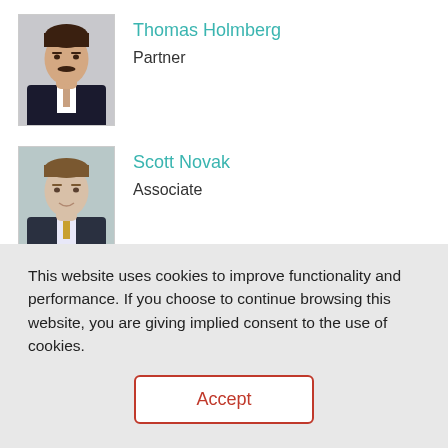[Figure (photo): Headshot of Thomas Holmberg, man with dark hair and mustache wearing a suit]
Thomas Holmberg
Partner
[Figure (photo): Headshot of Scott Novak, man wearing a suit and tie]
Scott Novak
Associate
[Figure (photo): Headshot of Christine M. Ryu-Naya, woman with dark hair]
Christine M. Ryu-Naya
Special Counsel
This website uses cookies to improve functionality and performance. If you choose to continue browsing this website, you are giving implied consent to the use of cookies.